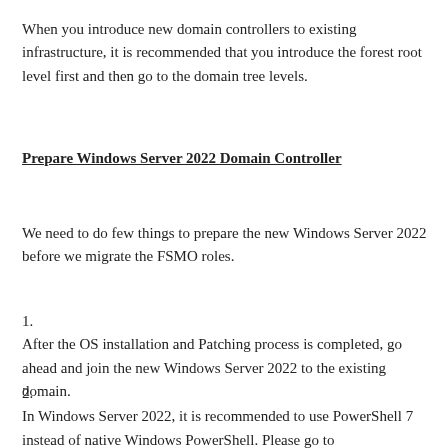When you introduce new domain controllers to existing infrastructure, it is recommended that you introduce the forest root level first and then go to the domain tree levels.
Prepare Windows Server 2022 Domain Controller
We need to do few things to prepare the new Windows Server 2022 before we migrate the FSMO roles.
After the OS installation and Patching process is completed, go ahead and join the new Windows Server 2022 to the existing domain.
In Windows Server 2022, it is recommended to use PowerShell 7 instead of native Windows PowerShell. Please go to https://aka.ms/PSWindows for more information. At the time this article was written, the